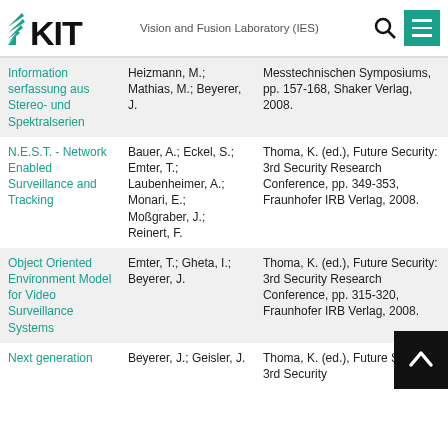KIT - Vision and Fusion Laboratory (IES)
| Title | Authors | Publication |
| --- | --- | --- |
| Information serfassung aus Stereo- und Spektralserien | Heizmann, M.; Mathias, M.; Beyerer, J. | Messtechnischen Symposiums, pp. 157-168, Shaker Verlag, 2008. |
| N.E.S.T. - Network Enabled Surveillance and Tracking | Bauer, A.; Eckel, S.; Emter, T.; Laubenheimer, A.; Monari, E.; Moßgraber, J.; Reinert, F. | Thoma, K. (ed.), Future Security: 3rd Security Research Conference, pp. 349-353, Fraunhofer IRB Verlag, 2008. |
| Object Oriented Environment Model for Video Surveillance Systems | Emter, T.; Gheta, I.; Beyerer, J. | Thoma, K. (ed.), Future Security: 3rd Security Research Conference, pp. 315-320, Fraunhofer IRB Verlag, 2008. |
| Next generation | Beyerer, J.; Geisler, J. | Thoma, K. (ed.), Future Security: 3rd Security |